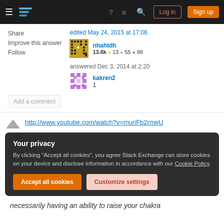Stack Exchange navigation bar with Log in and Sign up buttons
Share
Improve this answer
Follow
edited May 24, 2015 at 17:06
nhahtdh
13.6k ● 13 ● 55 ● 98
answered Dec 3, 2014 at 2:20
kakren2
1
Add a comment
http://www.youtube.com/watch?v=muriFb2rmeU
Your privacy
By clicking "Accept all cookies", you agree Stack Exchange can store cookies on your device and disclose information in accordance with our Cookie Policy.
Accept all cookies
Customize settings
necessarily having an ability to raise your chakra